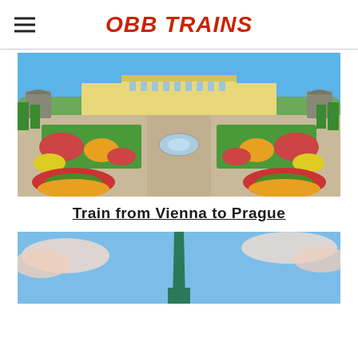OBB TRAINS
[Figure (photo): Aerial view of Schönbrunn Palace gardens in Vienna, Austria, showing ornate formal flower beds arranged symmetrically around a central fountain, with the yellow baroque palace building in the background and lush green trees on both sides.]
Train from Vienna to Prague
[Figure (photo): Partial view of a city skyline or landmark with a tall green spire against a blue sky with pink-tinged clouds, likely Prague.]